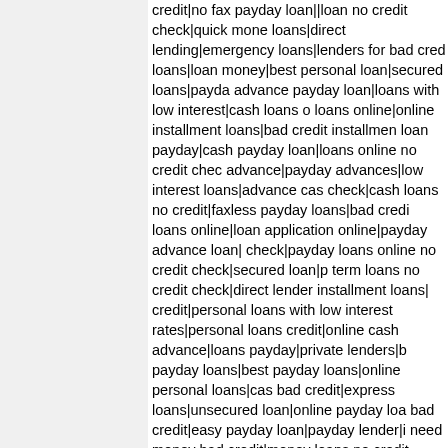credit|no fax payday loan||loan no credit check|quick money loans|direct lending|emergency loans|lenders for bad credit loans|loan money|best personal loan|secured loans|payday advance payday loan|loans with low interest|cash loans online loans online|online installment loans|bad credit installment loan payday|cash payday loan|loans online no credit check advance|payday advances|low interest loans|advance cash check|cash loans no credit|faxless payday loans|bad credit loans online|loan application online|payday advance loan|no check|payday loans online no credit check|secured loan|payday term loans no credit check|direct lender installment loans|bad credit|personal loans with low interest rates|personal loans no credit|online cash advance|loans payday|private lenders|bad payday loans|best payday loans|online personal loans|cash loans bad credit|express loans|unsecured loan|online payday loans bad credit|easy payday loan|payday lender|i need money bad credit|money loans no credit check|get loan|private loans now|cheap personal loans|guaranteed loans|small loans for bad credit loans|easy loans no credit check|short term loans for bad credit payday|payday advance loans|loan cash|online loans bad credit loan|cash advance usa|easy loan|direct payday lenders|loans now||loan fast|personal loans no credit|loans for fair credit|